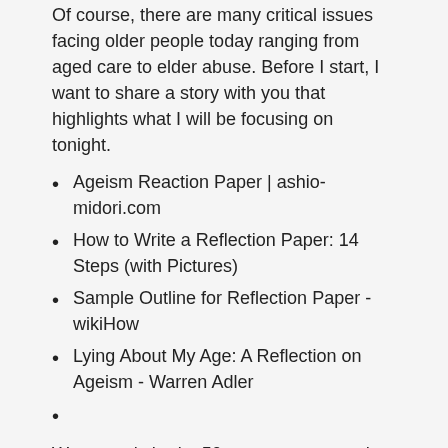Of course, there are many critical issues facing older people today ranging from aged care to elder abuse. Before I start, I want to share a story with you that highlights what I will be focusing on tonight.
Ageism Reaction Paper | ashio-midori.com
How to Write a Reflection Paper: 14 Steps (with Pictures)
Sample Outline for Reflection Paper - wikiHow
Lying About My Age: A Reflection on Ageism - Warren Adler
We recently had a 50yro man come to the Commission to complain that he had applied for a job for which he considered he was well qualified. He was told that he was not considered for the position as he did not have enough industry experience.